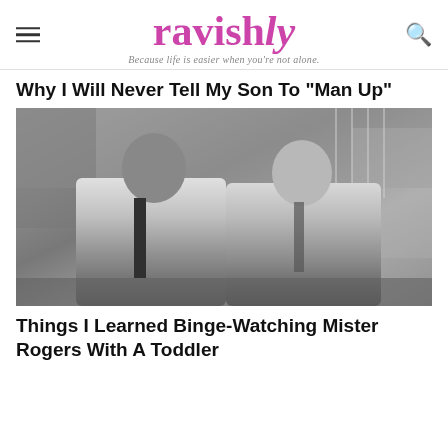ravishly — Because life is easier when you're not alone.
Why I Will Never Tell My Son To "Man Up"
[Figure (photo): Black and white photograph of two men sitting and smiling together — one in a police/security uniform on the left, one in a cardigan on the right, with a garden/outdoor TV set backdrop.]
Things I Learned Binge-Watching Mister Rogers With A Toddler